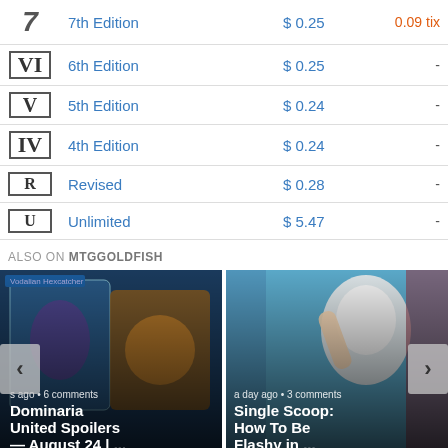| Edition | Name | Price | Tix |
| --- | --- | --- | --- |
| 7th Edition | 7th Edition | $0.25 | 0.09 tix |
| 6th Edition | 6th Edition | $0.25 | - |
| 5th Edition | 5th Edition | $0.24 | - |
| 4th Edition | 4th Edition | $0.24 | - |
| Revised | Revised | $0.28 | - |
| Unlimited | Unlimited | $5.47 | - |
ALSO ON MTGGOLDFISH
[Figure (screenshot): Thumbnail image of Dominaria United Spoilers article with MTG cards visible, showing metadata 's ago • 6 comments' and title 'Dominaria United Spoilers — August 24 | ...']
[Figure (screenshot): Thumbnail image of Single Scoop article showing illustrated character, metadata 'a day ago • 3 comments' and title 'Single Scoop: How To Be Flashy in ...']